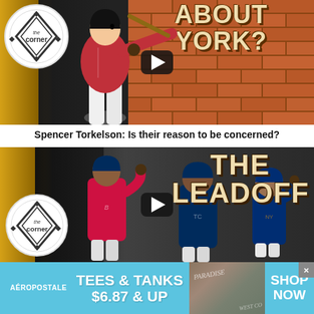[Figure (screenshot): Video thumbnail for 'The Corner' baseball show featuring a player swinging a bat against a brick wall background with text 'ABOUT YORK?' and a play button overlay]
Spencer Torkelson: Is their reason to be concerned?
[Figure (screenshot): Video thumbnail for 'The Leadoff' baseball show featuring multiple baseball players with 'THE LEADOFF' text overlay and a play button]
[Figure (infographic): Aeropostale advertisement banner: TEES & TANKS $6.87 & UP with SHOP NOW button]